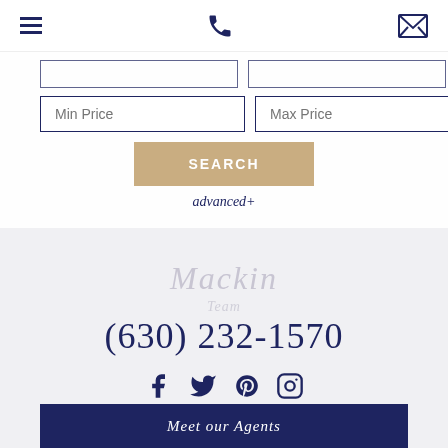Navigation bar with hamburger menu, phone icon, and envelope icon
[Figure (screenshot): Search form with Min Price and Max Price input fields, SEARCH button, and advanced+ link]
Mackin
(630) 232-1570
[Figure (infographic): Social media icons: Facebook, Twitter, Pinterest, Instagram]
Meet our Agents